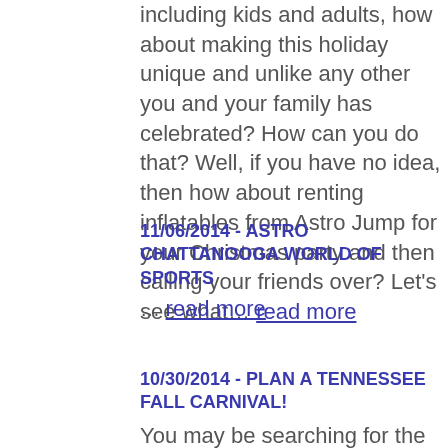including kids and adults, how about making this holiday unique and unlike any other you and your family has celebrated? How can you do that? Well, if you have no idea, then how about renting inflatables from Astro Jump for your Christmas party and then calling your friends over? Let's see what… read more
11/06/2014 - ASTRO CHATTANOOGA WORLD OF SPORTS
… read more
10/30/2014 - PLAN A TENNESSEE FALL CARNIVAL!
You may be searching for the perfect event